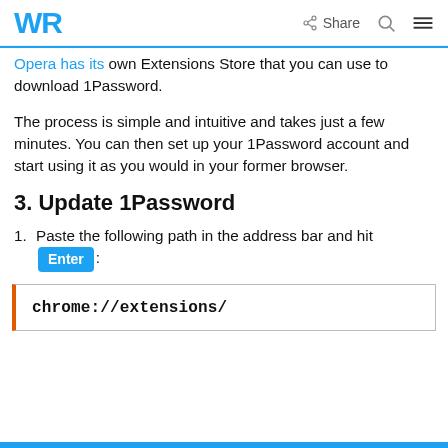WR | Share
similar to other popular browsers, Opera has its own Extensions Store that you can use to download 1Password.
The process is simple and intuitive and takes just a few minutes. You can then set up your 1Password account and start using it as you would in your former browser.
3. Update 1Password
Paste the following path in the address bar and hit Enter:
chrome://extensions/